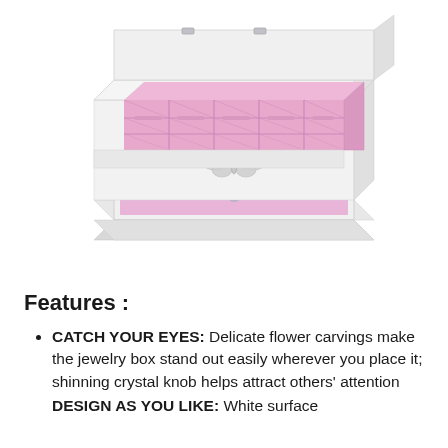[Figure (photo): White wooden jewelry box with open lid showing pink velvet-lined interior with multiple compartments for rings and jewelry, and an open bottom drawer with pink lining. Silver butterfly/flower carving on the front and a crystal knob on the drawer.]
Features :
CATCH YOUR EYES: Delicate flower carvings make the jewelry box stand out easily wherever you place it; shinning crystal knob helps attract others' attention
DESIGN AS YOU LIKE: White surface